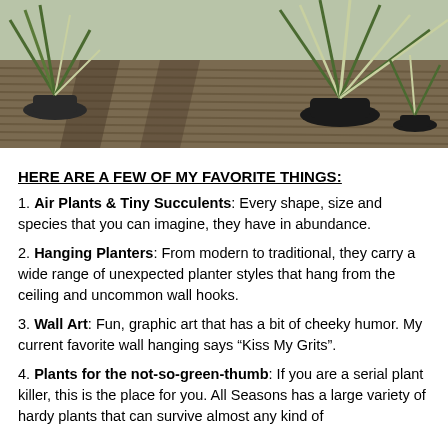[Figure (photo): Photograph of potted plants with long green and white striped leaves arranged on a wooden deck with horizontal planks and dramatic shadows.]
HERE ARE A FEW OF MY FAVORITE THINGS:
1. Air Plants & Tiny Succulents: Every shape, size and species that you can imagine, they have in abundance.
2. Hanging Planters: From modern to traditional, they carry a wide range of unexpected planter styles that hang from the ceiling and uncommon wall hooks.
3. Wall Art: Fun, graphic art that has a bit of cheeky humor. My current favorite wall hanging says “Kiss My Grits”.
4. Plants for the not-so-green-thumb: If you are a serial plant killer, this is the place for you. All Seasons has a large variety of hardy plants that can survive almost any kind of